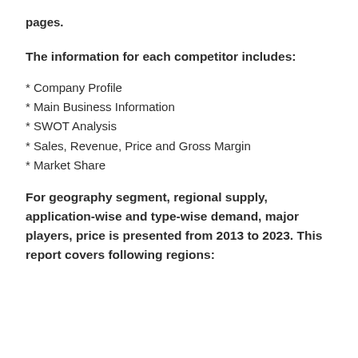pages.
The information for each competitor includes:
* Company Profile
* Main Business Information
* SWOT Analysis
* Sales, Revenue, Price and Gross Margin
* Market Share
For geography segment, regional supply, application-wise and type-wise demand, major players, price is presented from 2013 to 2023. This report covers following regions: